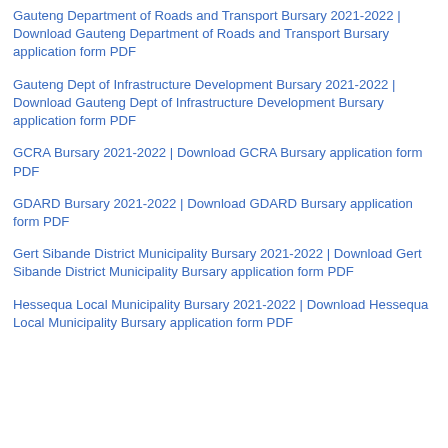Gauteng Department of Roads and Transport Bursary 2021-2022 | Download Gauteng Department of Roads and Transport Bursary application form PDF
Gauteng Dept of Infrastructure Development Bursary 2021-2022 | Download Gauteng Dept of Infrastructure Development Bursary application form PDF
GCRA Bursary 2021-2022 | Download GCRA Bursary application form PDF
GDARD Bursary 2021-2022 | Download GDARD Bursary application form PDF
Gert Sibande District Municipality Bursary 2021-2022 | Download Gert Sibande District Municipality Bursary application form PDF
Hessequa Local Municipality Bursary 2021-2022 | Download Hessequa Local Municipality Bursary application form PDF